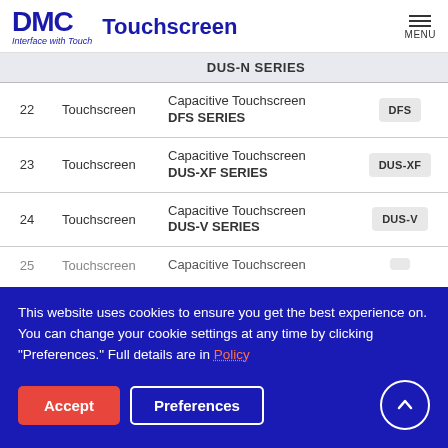DMC Touchscreen | Interface with Touch
| # | Type | Name | Series |
| --- | --- | --- | --- |
|  |  | DUS-N SERIES |  |
| 22 | Touchscreen | Capacitive Touchscreen DFS SERIES | DFS |
| 23 | Touchscreen | Capacitive Touchscreen DUS-XF SERIES | DUS-XF |
| 24 | Touchscreen | Capacitive Touchscreen DUS-V SERIES | DUS-V |
| 25 | Touchscreen | Capacitive Touchscreen ... | ... |
This website uses cookies to ensure you get the best experience on. You can change your cookie settings at any time by clicking "Preferences." Full details are in Policy